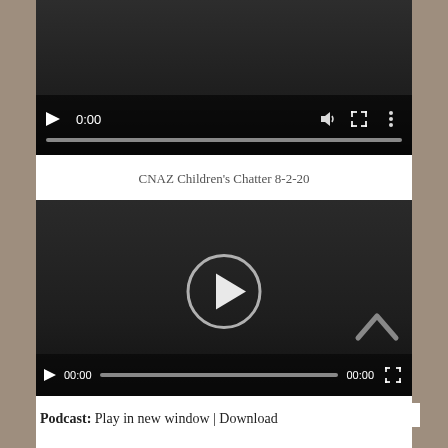[Figure (screenshot): Video player showing 0:00 timestamp with play button, volume, fullscreen, and options controls, and a progress bar at the bottom.]
CNAZ Children’s Chatter 8-2-20
[Figure (screenshot): Video player with large circular play button in center, showing 00:00 time on both sides of a progress bar, with an up-chevron icon in the lower right corner.]
Podcast: Play in new window | Download